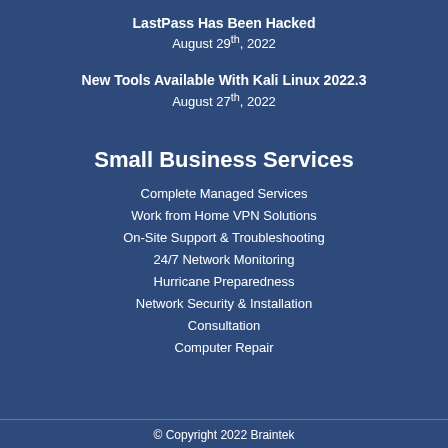LastPass Has Been Hacked
August 29th, 2022
New Tools Available With Kali Linux 2022.3
August 27th, 2022
Small Business Services
Complete Managed Services
Work from Home VPN Solutions
On-Site Support & Troubleshooting
24/7 Network Monitoring
Hurricane Preparedness
Network Security & Installation
Consultation
Computer Repair
© Copyright 2022 Braintek